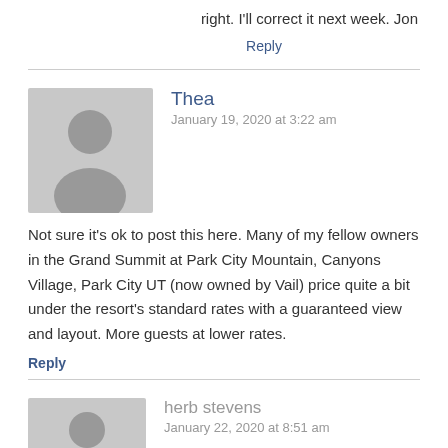right. I'll correct it next week. Jon
Reply
Thea
January 19, 2020 at 3:22 am
Not sure it's ok to post this here. Many of my fellow owners in the Grand Summit at Park City Mountain, Canyons Village, Park City UT (now owned by Vail) price quite a bit under the resort's standard rates with a guaranteed view and layout. More guests at lower rates.
Reply
herb stevens
January 22, 2020 at 8:51 am